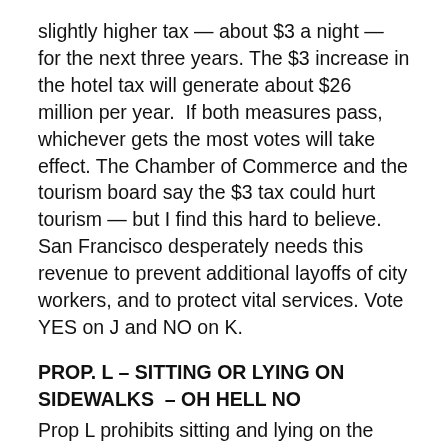slightly higher tax — about $3 a night — for the next three years. The $3 increase in the hotel tax will generate about $26 million per year.  If both measures pass, whichever gets the most votes will take effect. The Chamber of Commerce and the tourism board say the $3 tax could hurt tourism — but I find this hard to believe. San Francisco desperately needs this revenue to prevent additional layoffs of city workers, and to protect vital services. Vote YES on J and NO on K.
PROP. L – SITTING OR LYING ON SIDEWALKS  – OH HELL NO
Prop L prohibits sitting and lying on the sidewalk. Have you participated in a street fair or Bay to Breakers? Then you know there is nothing inherently wrong about sitting on the sidewalk. We lawyers call measures like Prop L both "overinclusive and underinclusive." On the one hand, it